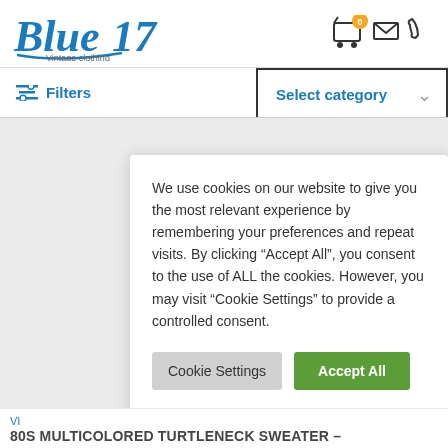[Figure (logo): Blue17 Vintage clothing logo in italic blue serif font]
[Figure (infographic): Header icons: shopping cart with badge '0', envelope, phone]
Filters
Select category
We use cookies on our website to give you the most relevant experience by remembering your preferences and repeat visits. By clicking “Accept All”, you consent to the use of ALL the cookies. However, you may visit “Cookie Settings” to provide a controlled consent.
Cookie Settings
Accept All
VI
80S MULTICOLORED TURTLENECK SWEATER –